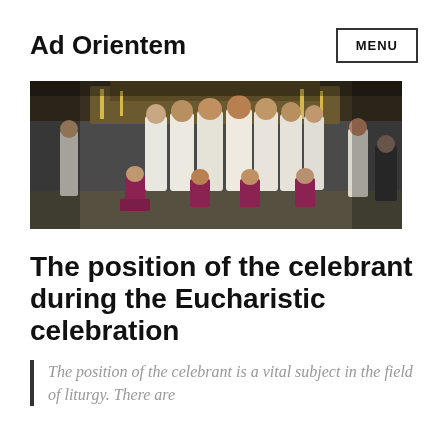Ad Orientem
[Figure (photo): Clergy in white vestments celebrating Mass, facing the altar, with purple-clad ministers kneeling in the foreground inside an ornate church.]
The position of the celebrant during the Eucharistic celebration
The position of the celebrant is a vital subject in the field of liturgy. There are